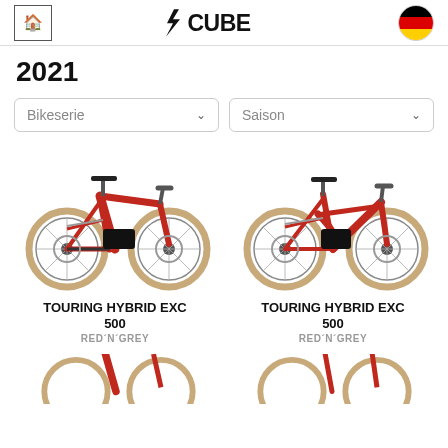CUBE bike catalog header with home button and German flag
2021
Bikeserie | Saison dropdowns
[Figure (photo): Red Cube Touring Hybrid EXC 500 electric bicycle, red frame with tan tires, left-side view]
TOURING HYBRID EXC 500
RED'N'GREY
[Figure (photo): Red Cube Touring Hybrid EXC 500 electric step-through bicycle, red frame with tan tires, left-side view]
TOURING HYBRID EXC 500
RED'N'GREY